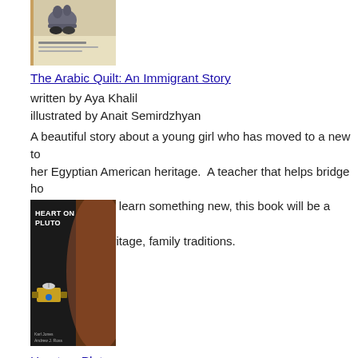[Figure (photo): Book cover of The Arabic Quilt: An Immigrant Story by Aya Khalil, illustrated by Anait Semirdzhyan]
The Arabic Quilt: An Immigrant Story
written by Aya Khalil
illustrated by Anait Semirdzhyan
A beautiful story about a young girl who has moved to a new to her Egyptian American heritage.  A teacher that helps bridge ho classmates who learn something new, this book will be a welco immigration, heritage, family traditions.
[Figure (photo): Book cover of Heart on Pluto by Karl Jones, illustrated by Andrew J. Ross. Dark cover with text HEART ON PLUTO and an image of a spacecraft.]
Heart on Pluto
written by Karl Jones
illustrated by Andrew J. Ross
An early reading story about Pluto and the New Horizons explo explore Pluto and its planets.  This story is told in the voice of N quick information to readers about its trip.
Perfect for preK-2nd gr readers.